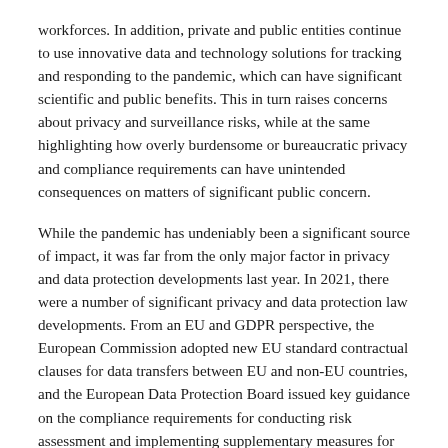workforces. In addition, private and public entities continue to use innovative data and technology solutions for tracking and responding to the pandemic, which can have significant scientific and public benefits. This in turn raises concerns about privacy and surveillance risks, while at the same highlighting how overly burdensome or bureaucratic privacy and compliance requirements can have unintended consequences on matters of significant public concern.
While the pandemic has undeniably been a significant source of impact, it was far from the only major factor in privacy and data protection developments last year. In 2021, there were a number of significant privacy and data protection law developments. From an EU and GDPR perspective, the European Commission adopted new EU standard contractual clauses for data transfers between EU and non-EU countries, and the European Data Protection Board issued key guidance on the compliance requirements for conducting risk assessment and implementing supplementary measures for transfers of EU personal data to inadequate jurisdictions.
In the United States, a number of new state-level privacy laws...